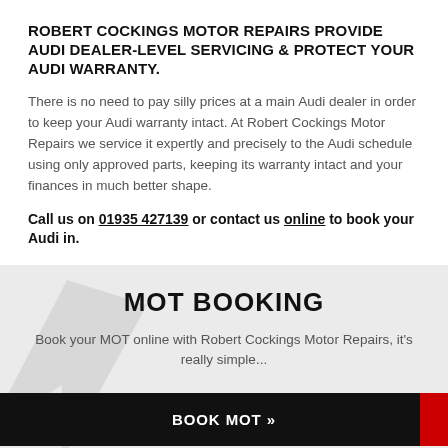ROBERT COCKINGS MOTOR REPAIRS PROVIDE AUDI DEALER-LEVEL SERVICING & PROTECT YOUR AUDI WARRANTY.
There is no need to pay silly prices at a main Audi dealer in order to keep your Audi warranty intact. At Robert Cockings Motor Repairs we service it expertly and precisely to the Audi schedule using only approved parts, keeping its warranty intact and your finances in much better shape.
Call us on 01935 427139 or contact us online to book your Audi in.
MOT BOOKING
Book your MOT online with Robert Cockings Motor Repairs, it's really simple...
BOOK MOT »
BOOK SERVICE